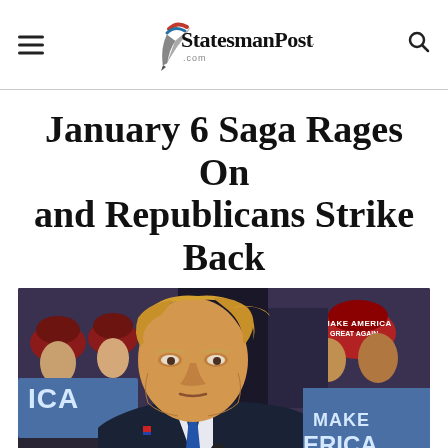StatesmanPost.com
January 6 Saga Rages On and Republicans Strike Back
[Figure (photo): Donald Trump speaking at a rally with crowd behind him wearing red MAGA hats; a blue 'MAKE AMERICA GREAT AGAIN' sign is visible on the right side.]